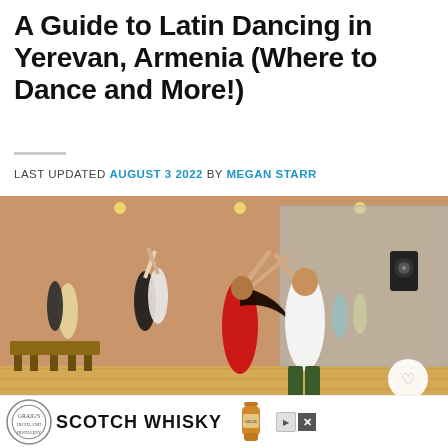A Guide to Latin Dancing in Yerevan, Armenia (Where to Dance and More!)
LAST UPDATED AUGUST 3 2022 BY MEGAN STARR
[Figure (photo): Group of people dancing Latin dances in a studio with wooden floors, orange walls and mirrors. A woman in a red top and a man in white are dancing in the foreground; several other couples dance in the background.]
[Figure (photo): Advertisement banner showing Scotch Whisky bottle and brand logo.]